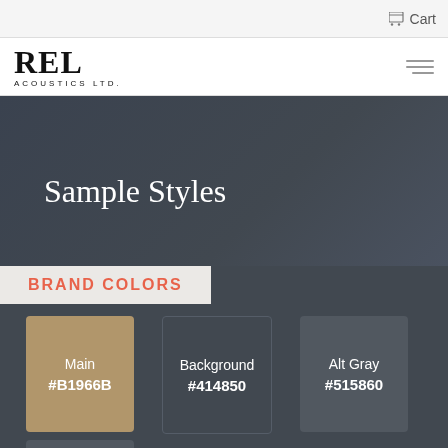Cart
[Figure (logo): REL Acoustics Ltd. logo with hamburger menu icon]
Sample Styles
BRAND COLORS
Main #B1966B
Background #414850
Alt Gray #515860